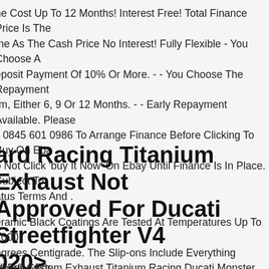ne Cost Up To 12 Months! Interest Free! Total Finance Price Is The me As The Cash Price No Interest! Fully Flexible - You Choose A eposit Payment Of 10% Or More. - - You Choose The Repayment rm, Either 6, 9 Or 12 Months. - - Early Repayment Available. Please ll 0845 601 0986 To Arrange Finance Before Clicking To Buy On Eba o Not Click 'buy It Now' On Ebay Until Finance Is In Place. Subject To atus Terms And .
ard Racing Titanium Exhaust Not Approved For Ducati Streetfighter V4 020>
eramic Black Coatings Are Tested At Temperatures Up To 1000 egrees Centigrade. The Slip-ons Include Everything Needed For ssembly Including Steel Fittings And Carbon Fiber Heat Shields. Zar haust Weight 5 Kg.
rd Full System Exhaust Titanium Racing Ducati Monster 1200 R 201